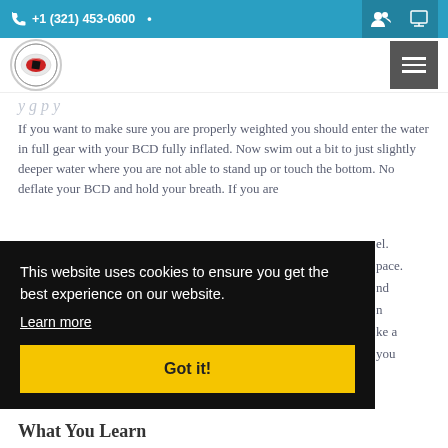+1 (321) 453-0600
[Figure (logo): Diving school circular logo with red and white design]
If you want to make sure you are properly weighted you should enter the water in full gear with your BCD fully inflated. Now swim out a bit to just slightly deeper water where you are not able to stand up or touch the bottom. No deflate your BCD and hold your breath. If you are properly weighted you should float at eye level. ... pace. ... nd ... n ... ke a ... you
This website uses cookies to ensure you get the best experience on our website.
Learn more
Got it!
What You Learn